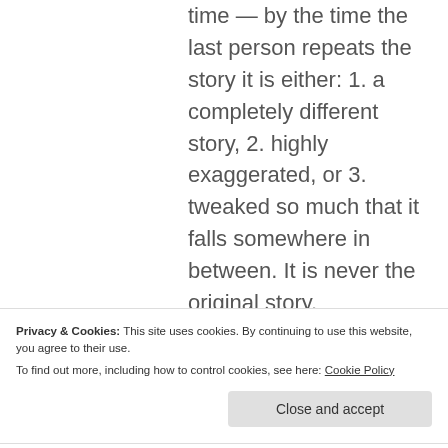time — by the time the last person repeats the story it is either: 1. a completely different story, 2. highly exaggerated, or 3. tweaked so much that it falls somewhere in between. It is never the original story.
So imagine what happens
Privacy & Cookies: This site uses cookies. By continuing to use this website, you agree to their use.
To find out more, including how to control cookies, see here: Cookie Policy
Close and accept
years. That's why